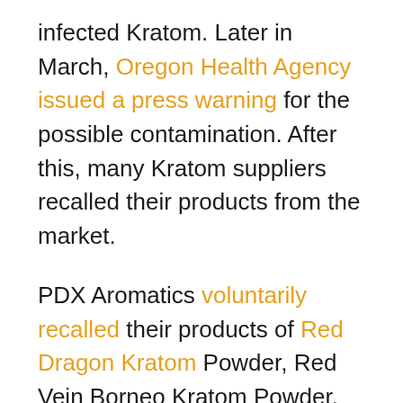infected Kratom. Later in March, Oregon Health Agency issued a press warning for the possible contamination. After this, many Kratom suppliers recalled their products from the market.
PDX Aromatics voluntarily recalled their products of Red Dragon Kratom Powder, Red Vein Borneo Kratom Powder, Red Vein Sumatra Kratom Powder, Red Vein Thai Kratom Powder and Super Indo Kratom Powder that was under sale at websites named Phytoextractum, and Soul Speciosa.
FDA joined the state partners for testing